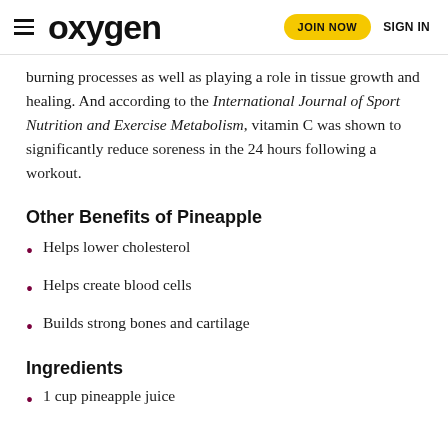oxygen | JOIN NOW | SIGN IN
burning processes as well as playing a role in tissue growth and healing. And according to the International Journal of Sport Nutrition and Exercise Metabolism, vitamin C was shown to significantly reduce soreness in the 24 hours following a workout.
Other Benefits of Pineapple
Helps lower cholesterol
Helps create blood cells
Builds strong bones and cartilage
Ingredients
1 cup pineapple juice